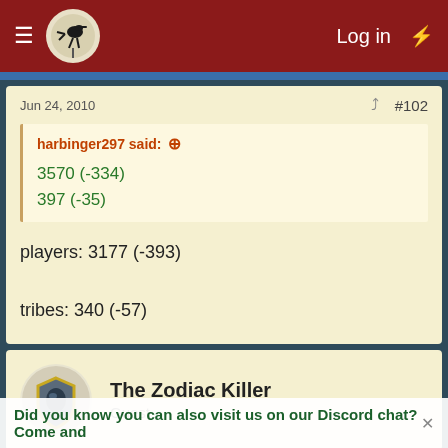Log in
Jun 24, 2010  #102
harbinger297 said:
3570 (-334)
397 (-35)
players: 3177 (-393)

tribes: 340 (-57)
The Zodiac Killer
Guest
Jun 24, 2010  #103
The Jacal said:
Harb cannot be found.... harb cannot be found....
Did you know you can also visit us on our Discord chat? Come and